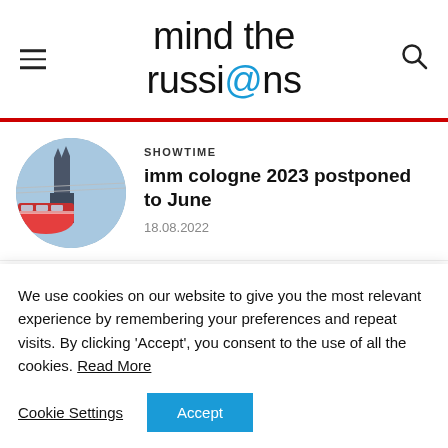mind the russi@ns
SHOWTIME
imm cologne 2023 postponed to June
18.08.2022
SHOWTIME
25-29 Oct 2022 • ORGATEC
We use cookies on our website to give you the most relevant experience by remembering your preferences and repeat visits. By clicking 'Accept', you consent to the use of all the cookies. Read More
Cookie Settings   Accept